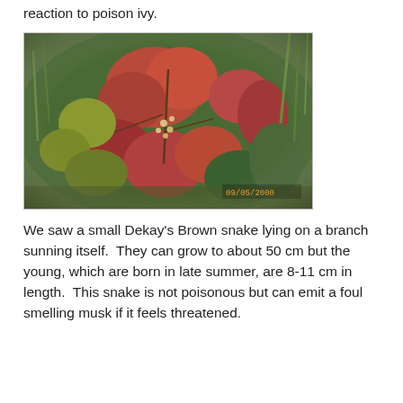reaction to poison ivy.
[Figure (photo): Photograph of poison ivy plant with reddish-pink and green leaves growing in a natural outdoor setting among grass and other vegetation. A timestamp is visible in the lower right corner of the photo.]
We saw a small Dekay's Brown snake lying on a branch sunning itself.  They can grow to about 50 cm but the young, which are born in late summer, are 8-11 cm in length.  This snake is not poisonous but can emit a foul smelling musk if it feels threatened.